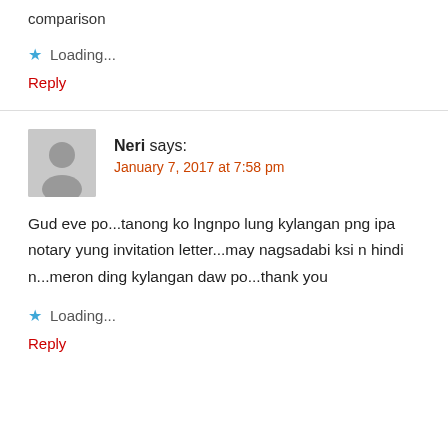comparison
★ Loading...
Reply
Neri says:
January 7, 2017 at 7:58 pm
Gud eve po...tanong ko lngnpo lung kylangan png ipa notary yung invitation letter...may nagsadabi ksi n hindi n...meron ding kylangan daw po...thank you
★ Loading...
Reply